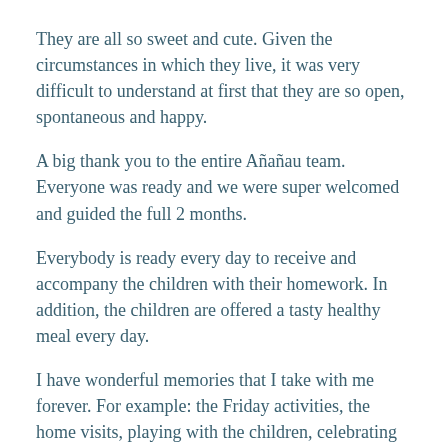They are all so sweet and cute. Given the circumstances in which they live, it was very difficult to understand at first that they are so open, spontaneous and happy. A big thank you to the entire Añañau team. Everyone was ready and we were super welcomed and guided the full 2 months. Everybody is ready every day to receive and accompany the children with their homework. In addition, the children are offered a tasty healthy meal every day. I have wonderful memories that I take with me forever. For example: the Friday activities, the home visits, playing with the children, celebrating Christmas with the children ...
Life in Peru is fantastic. The culture is very colorful and incredibly interesting. There is always something going on and the